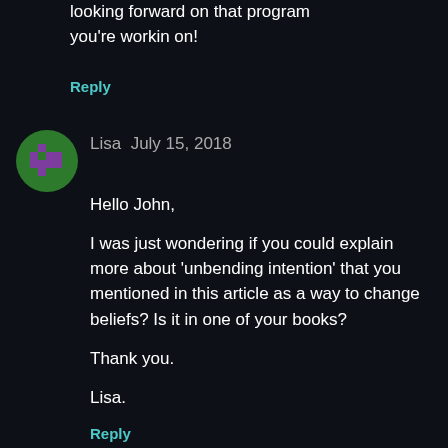looking forward on that program you're workin on!
Reply
[Figure (illustration): Circular avatar with green background and pixel-art purple character icon for user Lisa]
Lisa  July 15, 2018
Hello John,

I was just wondering if you could explain more about 'unbending intention' that you mentioned in this article as a way to change beliefs? Is it in one of your books?

Thank you.

Lisa.
Reply